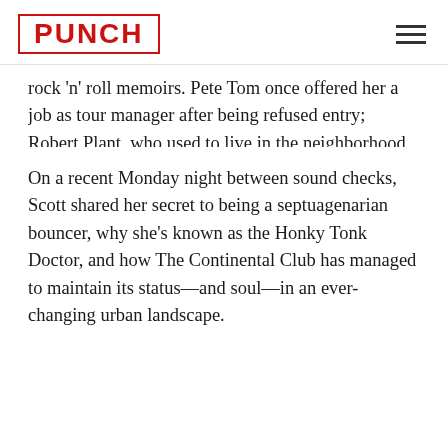PUNCH
rock 'n' roll memoirs. Pete Tom once offered her a job as tour manager after being refused entry; Robert Plant, who used to live in the neighborhood, knows her by name; Pamela Des Barres isn't just her writing coach and mentor, but one of her best friends.
On a recent Monday night between sound checks, Scott shared her secret to being a septuagenarian bouncer, why she's known as the Honky Tonk Doctor, and how The Continental Club has managed to maintain its status—and soul—in an ever-changing urban landscape.